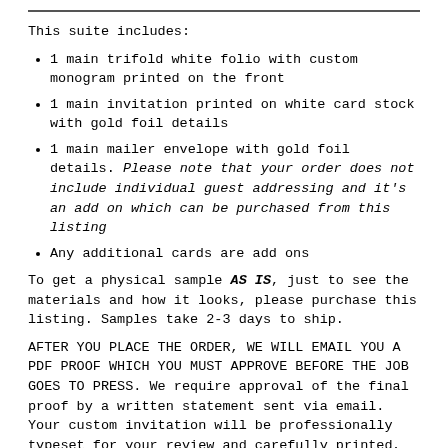This suite includes:
1 main trifold white folio with custom monogram printed on the front
1 main invitation printed on white card stock with gold foil details
1 main mailer envelope with gold foil details. Please note that your order does not include individual guest addressing and it's an add on which can be purchased from this listing
Any additional cards are add ons
To get a physical sample AS IS, just to see the materials and how it looks, please purchase this listing. Samples take 2-3 days to ship.
AFTER YOU PLACE THE ORDER, WE WILL EMAIL YOU A PDF PROOF WHICH YOU MUST APPROVE BEFORE THE JOB GOES TO PRESS. We require approval of the final proof by a written statement sent via email. Your custom invitation will be professionally typeset for your review and carefully printed,